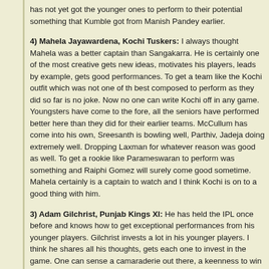has not yet got the younger ones to perform to their potential something that Kumble got from Manish Pandey earlier.
4) Mahela Jayawardena, Kochi Tuskers: I always thought Mahela was a better captain than Sangakarra. He is certainly one of the most creative gets new ideas, motivates his players, leads by example, gets good performances. To get a team like the Kochi outfit which was not one of the best composed to perform as they did so far is no joke. Now no one can write Kochi off in any game. Youngsters have come to the fore, all the seniors have performed better here than they did for their earlier teams. McCullum has come into his own, Sreesanth is bowling well, Parthiv, Jadeja doing extremely well. Dropping Laxman for whatever reason was good as well. To get a rookie like Parameswaran to perform was something and Raiphi Gomez will surely come good sometime. Mahela certainly is a captain to watch and I think Kochi is on to a good thing with him.
3) Adam Gilchrist, Punjab Kings XI: He has held the IPL once before and knows how to get exceptional performances from his younger players. Gilchrist invests a lot in his younger players. I think he shares all his thoughts, gets each one to invest in the game. One can sense a camaraderie out there, a keenness to win for themselves, for the team and for their captain. He did a great job with the DC and now he is doing fine job with the Kings XI. Getting Paul Valthaty to perform like a